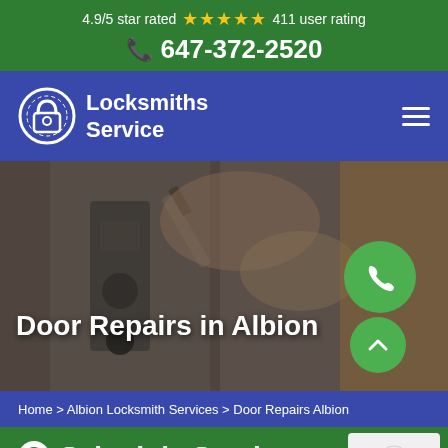4.9/5 star rated ★★★★★ 411 user rating
☎ 647-372-2520
[Figure (logo): Locksmiths Service logo with padlock icon on blue navbar]
[Figure (photo): Background photo of hands using a tool on a door lock mechanism]
Door Repairs in Albion
Home > Albion Locksmith Services > Door Repairs Albion
Schedule Service